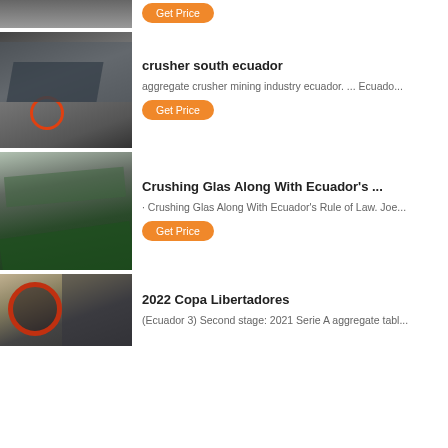[Figure (photo): Top partial image of industrial machinery (partial, cropped at top)]
Get Price
[Figure (photo): Industrial crusher machine in a factory]
crusher south ecuador
aggregate crusher mining industry ecuador. ... Ecuado...
Get Price
[Figure (photo): Green industrial conveyor/crushing equipment in a large hall]
Crushing Glas Along With Ecuador's ...
· Crushing Glas Along With Ecuador's Rule of Law. Joe...
Get Price
[Figure (photo): Industrial jaw crusher machine in factory]
2022 Copa Libertadores
(Ecuador 3) Second stage: 2021 Serie A aggregate tabl...